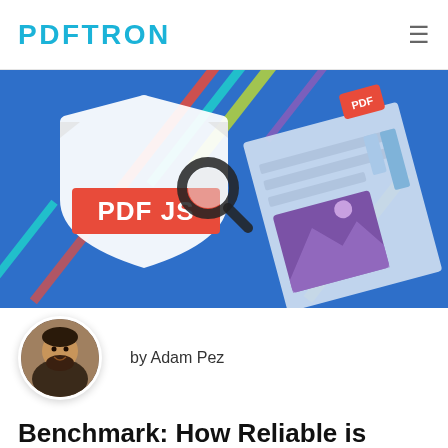PDFTRON
[Figure (illustration): Hero banner with blue background showing PDF.js shield logo on the left and a stylized PDF document with image icon and magnifying glass on the right, with diagonal colored stripes across the background.]
by Adam Pez
Benchmark: How Reliable is PDF.js